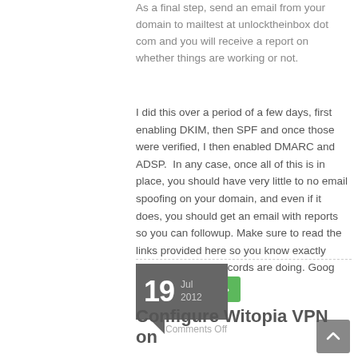As a final step, send an email from your domain to mailtest at unlocktheinbox dot com and you will receive a report on whether things are working or not.
I did this over a period of a few days, first enabling DKIM, then SPF and once those were verified, I then enabled DMARC and ADSP.  In any case, once all of this is in place, you should have very little to no email spoofing on your domain, and even if it does, you should get an email with reports so you can followup. Make sure to read the links provided here so you know exactly what each of the records are doing. Goog Luck. read more ›
19 Jul 2012
Comments Off
Configure Witopia VPN on DD-WRT